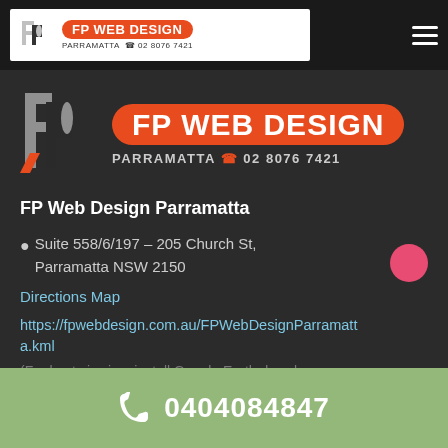[Figure (logo): FP Web Design logo banner with orange pill badge and phone number in top navigation bar]
[Figure (logo): Large FP Web Design logo with grey FP monogram and orange pill badge reading FP WEB DESIGN, with PARRAMATTA 02 8076 7421 below]
FP Web Design Parramatta
Suite 558/6/197 – 205 Church St, Parramatta NSW 2150
Directions Map
https://fpwebdesign.com.au/FPWebDesignParramatta.kml
(For best viewing, install Google Earth downloa...
0404084847